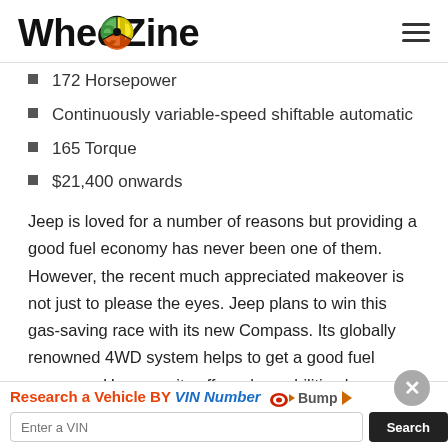WheelZine
172 Horsepower
Continuously variable-speed shiftable automatic
165 Torque
$21,400 onwards
Jeep is loved for a number of reasons but providing a good fuel economy has never been one of them. However, the recent much appreciated makeover is not just to please the eyes. Jeep plans to win this gas-saving race with its new Compass. Its globally renowned 4WD system helps to get a good fuel economy. However, its off-road capabilities have